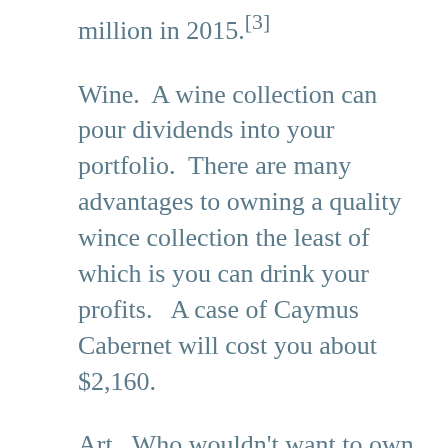million in 2015.[3]
Wine.  A wine collection can pour dividends into your portfolio.  There are many advantages to owning a quality wince collection the least of which is you can drink your profits.   A case of Caymus Cabernet will cost you about $2,160.
Art.  Who wouldn't want to own a Warhol, Van Gogh or Picasso?  If you're going to buy art, make sure you like it because you'll have to look at it for a long time.  Most cities host art fairs where local artists